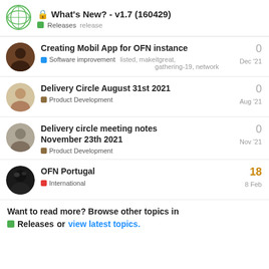What's New? - v1.7 (160429) | Releases release
Creating Mobil App for OFN instance | Software improvement | listed, makeitgreat, gathering-19, network | Dec '21 | 0
Delivery Circle August 31st 2021 | Product Development | Aug '21 | 0
Delivery circle meeting notes November 23th 2021 | Product Development | Nov '21 | 0
OFN Portugal | International | 8 Feb | 18
Want to read more? Browse other topics in Releases or view latest topics.